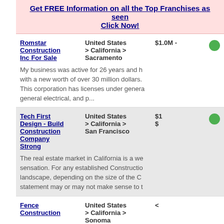Get FREE Information on all the Top Franchises as seen... Click Now!
Romstar Construction Inc For Sale | United States > California > Sacramento | $1.0M -
My business was active for 26 years and h... with a new worth of over 30 million dollars. This corporation has licenses under genera... general electrical, and p...
Tech First Design - Build Construction Company Strong | United States > California > San Francisco | $1...
The real estate market in California is a we... sensation. For any established Constructio... landscape, depending on the size of the C... statement may or may not make sense to t...
Fence Construction | United States > California > Sonoma County | <
Profitable and well established 14 year old... specializing in wooden residential fencing. Bureau and amazing references. Buyer mu... license. Sale will includ...